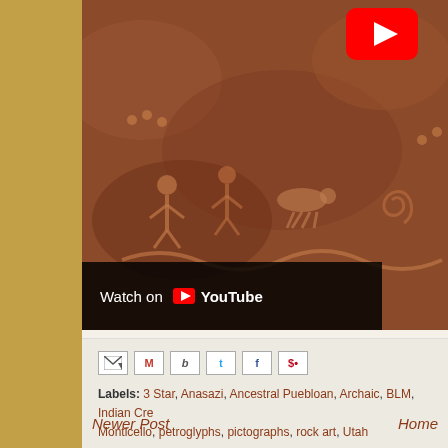[Figure (screenshot): YouTube video thumbnail showing rock art / petroglyphs on a brown sandstone surface, with a red YouTube play button in the upper right and a 'Watch on YouTube' bar at the bottom left]
Labels: 3 Star, Anasazi, Ancestral Puebloan, Archaic, BLM, Indian Creek, Monticello, petroglyphs, pictographs, rock art, Utah
Newer Post
Home